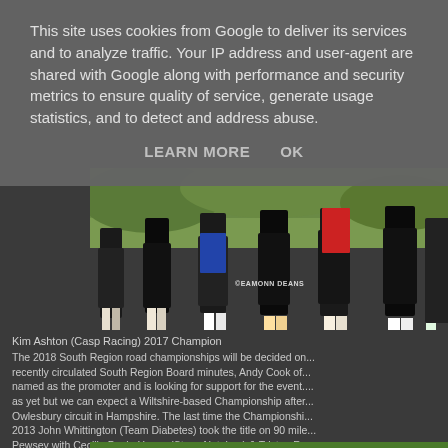This site uses cookies from Google to deliver its services and to analyze traffic. Your IP address and user-agent are shared with Google along with performance and security metrics to ensure quality of service, generate usage statistics, and to detect and address abuse.
LEARN MORE    OK
[Figure (photo): Cyclists racing on road, shot from behind showing legs, bikes and wheels. Watermark reads EAMONN DEANS.]
Kim Ashton (Casp Racing) 2017 Champion
The 2018 South Region road championships will be decided on... recently circulated South Region Board minutes, Andy Cook of... named as the promoter and is looking for support for the event.... as yet but we can expect a Wiltshire-based Championship after... Owlesbury circuit in Hampshire. The last time the Championshi... 2013 John Whittington (Team Diabetes) took the title on 90 mile... Pewsey with Cecilia Davis-Hayes (Stans Notubes) & Tristan Ro... the Womens and Junior Titles.